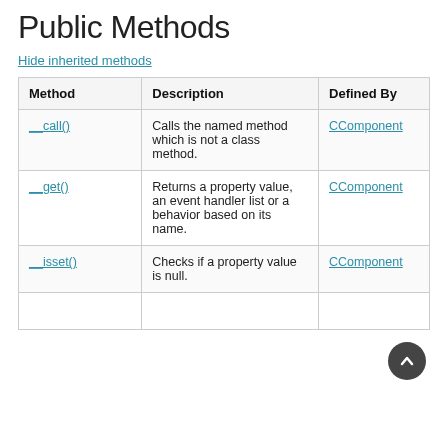Public Methods
Hide inherited methods
| Method | Description | Defined By |
| --- | --- | --- |
| __call() | Calls the named method which is not a class method. | CComponent |
| __get() | Returns a property value, an event handler list or a behavior based on its name. | CComponent |
| __isset() | Checks if a property value is null. | CComponent |
|  |  |  |